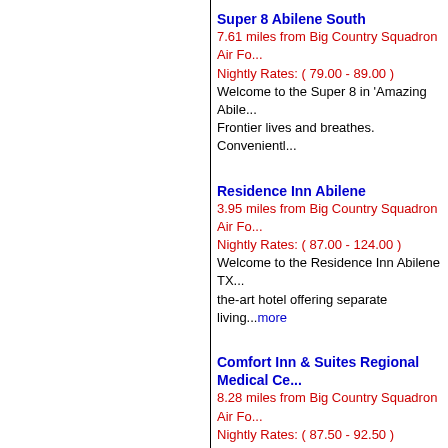Super 8 Abilene South
7.61 miles from Big Country Squadron Air Fo...
Nightly Rates: ( 79.00 - 89.00 )
Welcome to the Super 8 in 'Amazing Abile... Frontier lives and breathes. Convenientl...
Residence Inn Abilene
3.95 miles from Big Country Squadron Air Fo...
Nightly Rates: ( 87.00 - 124.00 )
Welcome to the Residence Inn Abilene TX... the-art hotel offering separate living...more
Comfort Inn & Suites Regional Medical Ce...
8.28 miles from Big Country Squadron Air Fo...
Nightly Rates: ( 87.50 - 92.50 )
The hotel is located close to all of Abilene... businesses. The hotel offers free break...r Medical Center
La Quinta Inn Abilene
6.15 miles from Big Country Squadron Air Fo...
Nightly Rates: ( 89.00 - 89.00 )
NEW! Samsung Flat-panel TVs with 30 ch... access Plug-and-Play feature makes it si...